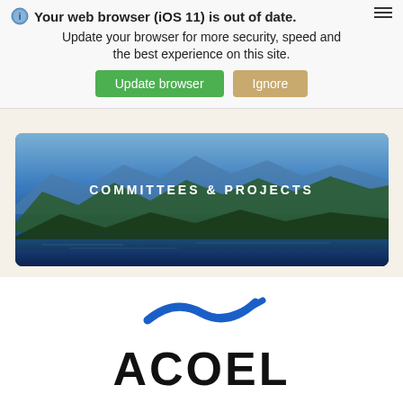Your web browser (iOS 11) is out of date. Update your browser for more security, speed and the best experience on this site.
Update browser | Ignore
[Figure (screenshot): Hero banner showing a mountain lake scene with blue sky and forested mountains, with text COMMITTEES & PROJECTS overlaid]
[Figure (logo): ACOEL logo with blue bird/wave swoosh above bold black text ACOEL]
ACOEL
1730 M Street NW Suite 700
Washington, DC 20036